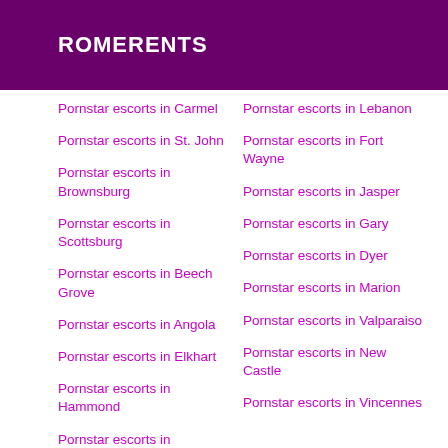ROMERENTS
Pornstar escorts in Carmel
Pornstar escorts in St. John
Pornstar escorts in Brownsburg
Pornstar escorts in Scottsburg
Pornstar escorts in Beech Grove
Pornstar escorts in Angola
Pornstar escorts in Elkhart
Pornstar escorts in Hammond
Pornstar escorts in
Pornstar escorts in Lebanon
Pornstar escorts in Fort Wayne
Pornstar escorts in Jasper
Pornstar escorts in Gary
Pornstar escorts in Dyer
Pornstar escorts in Marion
Pornstar escorts in Valparaiso
Pornstar escorts in New Castle
Pornstar escorts in Vincennes